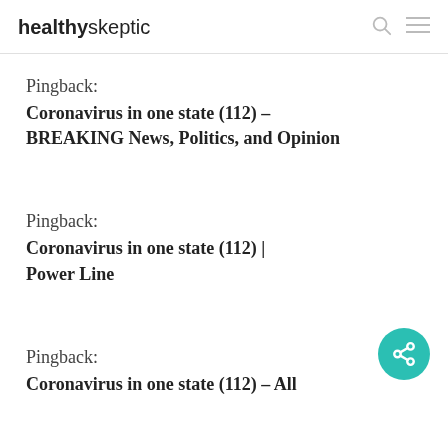healthyskeptic
Pingback:
Coronavirus in one state (112) – BREAKING News, Politics, and Opinion
Pingback:
Coronavirus in one state (112) | Power Line
Pingback:
Coronavirus in one state (112) – All